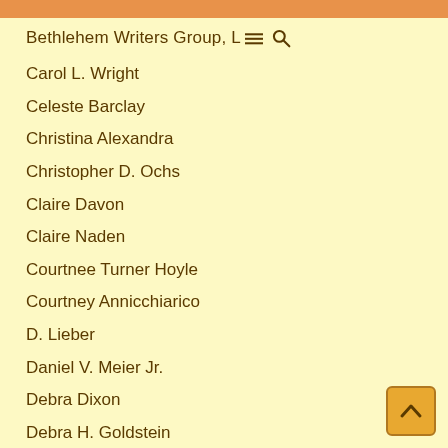Bethlehem Writers Group, L [menu] [search]
Carol L. Wright
Celeste Barclay
Christina Alexandra
Christopher D. Ochs
Claire Davon
Claire Naden
Courtnee Turner Hoyle
Courtney Annicchiarico
D. Lieber
Daniel V. Meier Jr.
Debra Dixon
Debra H. Goldstein
Debra Holland
Dee Ann Palmer
Carolina Valdez
Denise M. Colby
Diane Benefiel
Diane Sismour